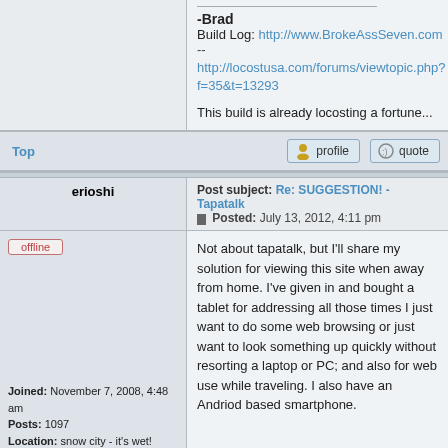-Brad
Build Log: http://www.BrokeAssSeven.com
--
http://locostusa.com/forums/viewtopic.php?f=35&t=13293

This build is already locosting a fortune...
Top
profile
quote
Post subject: Re: SUGGESTION! - Tapatalk
Posted: July 13, 2012, 4:11 pm
erioshi
offline
Joined: November 7, 2008, 4:48 am
Posts: 1097
Location: snow city - it's wet!
Not about tapatalk, but I'll share my solution for viewing this site when away from home. I've given in and bought a tablet for addressing all those times I just want to do some web browsing or just want to look something up quickly without resorting a laptop or PC; and also for web use while traveling. I also have an Andriod based smartphone.